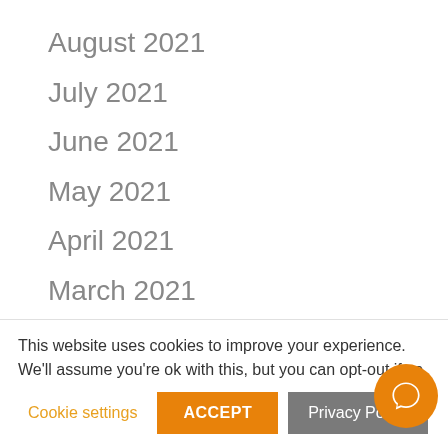August 2021
July 2021
June 2021
May 2021
April 2021
March 2021
February 2021
January 2021
This website uses cookies to improve your experience. We'll assume you're ok with this, but you can opt-out if yo
Cookie settings   ACCEPT   Privacy Policy